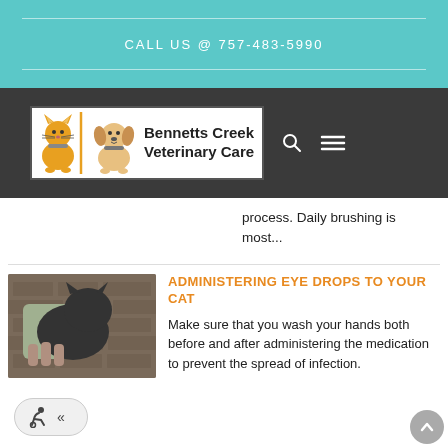CALL US @ 757-483-5990
[Figure (logo): Bennetts Creek Veterinary Care logo with illustrated cat and dog, navigation search and menu icons on dark bar]
process. Daily brushing is most...
ADMINISTERING EYE DROPS TO YOUR CAT
[Figure (photo): Person holding a dark-colored cat against a brick wall background]
Make sure that you wash your hands both before and after administering the medication to prevent the spread of infection.